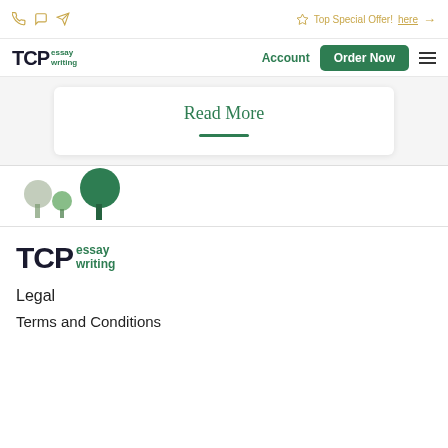Top Special Offer! here →
[Figure (logo): TCP essay writing logo in navigation bar]
Account
Order Now
Read More
[Figure (illustration): Decorative trees illustration at bottom of content area]
[Figure (logo): TCP essay writing logo in footer]
Legal
Terms and Conditions